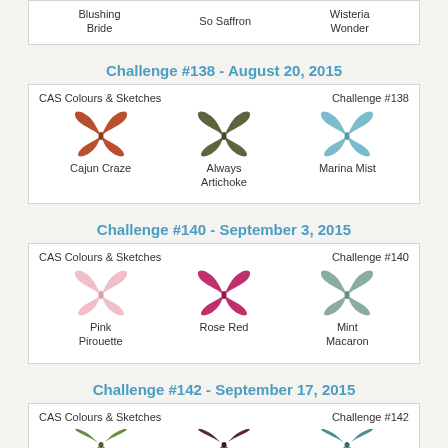| Blushing Bride | So Saffron | Wisteria Wonder |
Challenge #138 - August 20, 2015
[Figure (infographic): Three butterfly silhouettes in Cajun Craze (dark red), Always Artichoke (olive green), and Marina Mist (light blue) with header 'CAS Colours & Sketches' and 'Challenge #138']
Challenge #140 - September 3, 2015
[Figure (infographic): Three butterfly silhouettes in Pink Pirouette (light pink), Rose Red (deep pink), and Mint Macaron (sage green) with header 'CAS Colours & Sketches' and 'Challenge #140']
Challenge #142 - September 17, 2015
[Figure (infographic): Three partially visible butterfly silhouettes in green, dark maroon, and teal with header 'CAS Colours & Sketches' and 'Challenge #142']